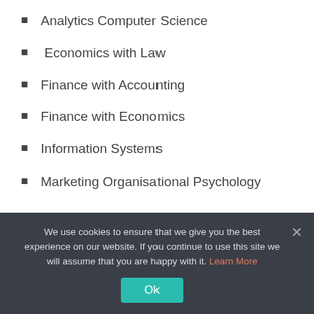Analytics Computer Science
Economics with Law
Finance with Accounting
Finance with Economics
Information Systems
Marketing Organisational Psychology
Bachelor of Commerce
In Actuarial Science specializing in Quantitative Fi…
We use cookies to ensure that we give you the best experience on our website. If you continue to use this site we will assume that you are happy with it. Learn More